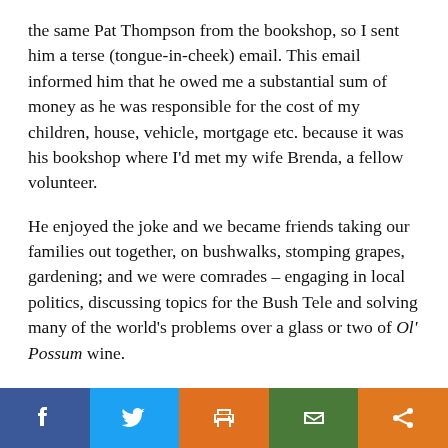the same Pat Thompson from the bookshop, so I sent him a terse (tongue-in-cheek) email. This email informed him that he owed me a substantial sum of money as he was responsible for the cost of my children, house, vehicle, mortgage etc. because it was his bookshop where I'd met my wife Brenda, a fellow volunteer.
He enjoyed the joke and we became friends taking our families out together, on bushwalks, stomping grapes, gardening; and we were comrades – engaging in local politics, discussing topics for the Bush Tele and solving many of the world's problems over a glass or two of Ol' Possum wine.
Over those years, I learnt from Pat that greatness isn't a disease that afflicts a random few. Rather it's a decision ordinary people make afresh each day by being extraordinarily committed to their passions
[Figure (infographic): Social share bar with five buttons: Facebook (dark blue), Twitter (light blue), Print (orange), Email (green), Share (orange)]